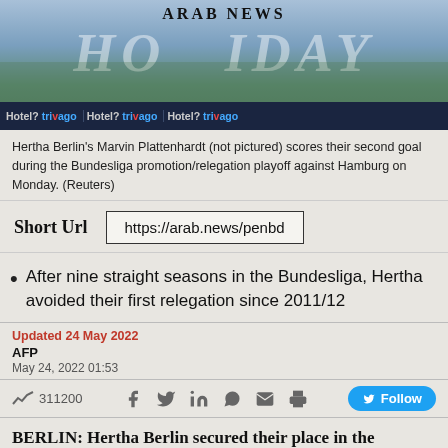[Figure (photo): Arab News website header with football/soccer photo showing players on grass, with advertising boards reading 'Hotel? trivago' repeated along the bottom. The Arab News logo appears at the top center.]
Hertha Berlin's Marvin Plattenhardt (not pictured) scores their second goal during the Bundesliga promotion/relegation playoff against Hamburg on Monday. (Reuters)
Short Url  https://arab.news/penbd
After nine straight seasons in the Bundesliga, Hertha avoided their first relegation since 2011/12
Updated 24 May 2022
AFP
May 24, 2022 01:53
311200  Follow
BERLIN: Hertha Berlin secured their place in the